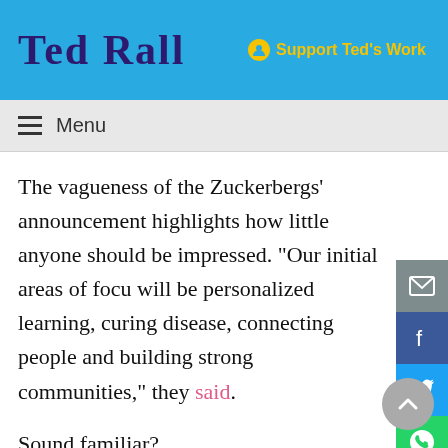Ted Rall | Support Ted's Work
Menu
The vagueness of the Zuckerbergs' announcement highlights how little anyone should be impressed. “Our initial areas of focus will be personalized learning, curing disease, connecting people and building strong communities,” they said.
Sound familiar?
The Bill and Melinda Gates Foundation was founded in 2000 with billions of dollars